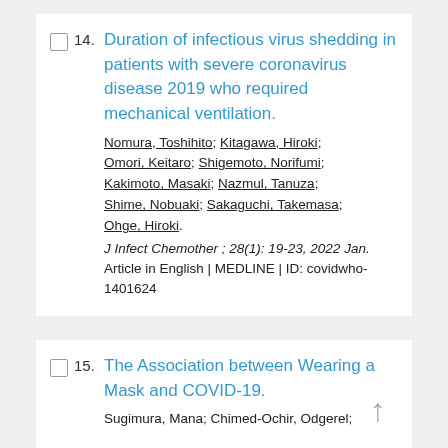14. Duration of infectious virus shedding in patients with severe coronavirus disease 2019 who required mechanical ventilation. Nomura, Toshihito; Kitagawa, Hiroki; Omori, Keitaro; Shigemoto, Norifumi; Kakimoto, Masaki; Nazmul, Tanuza; Shime, Nobuaki; Sakaguchi, Takemasa; Ohge, Hiroki. J Infect Chemother; 28(1): 19-23, 2022 Jan. Article in English | MEDLINE | ID: covidwho-1401624
15. The Association between Wearing a Mask and COVID-19. Sugimura, Mana; Chimed-Ochir, Odgerel;